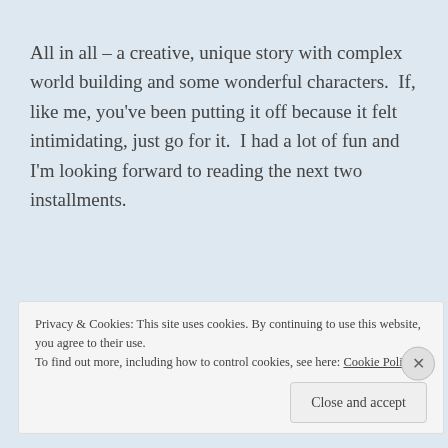All in all – a creative, unique story with complex world building and some wonderful characters.  If, like me, you've been putting it off because it felt intimidating, just go for it.  I had a lot of fun and I'm looking forward to reading the next two installments.
Privacy & Cookies: This site uses cookies. By continuing to use this website, you agree to their use.
To find out more, including how to control cookies, see here: Cookie Policy